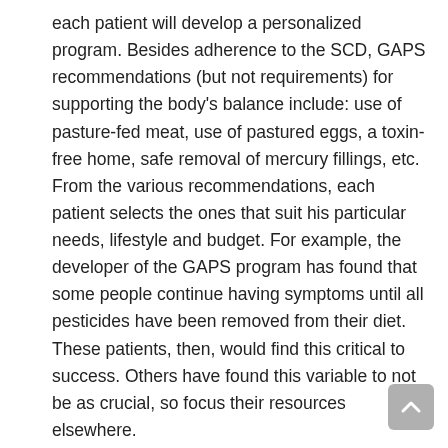each patient will develop a personalized program. Besides adherence to the SCD, GAPS recommendations (but not requirements) for supporting the body's balance include: use of pasture-fed meat, use of pastured eggs, a toxin-free home, safe removal of mercury fillings, etc. From the various recommendations, each patient selects the ones that suit his particular needs, lifestyle and budget. For example, the developer of the GAPS program has found that some people continue having symptoms until all pesticides have been removed from their diet. These patients, then, would find this critical to success. Others have found this variable to not be as crucial, so focus their resources elsewhere.
Detox: Of the two, only GAPS includes a detox protocol. This includes healthy living, avoidance of harmful chemicals, and baths with baking soda